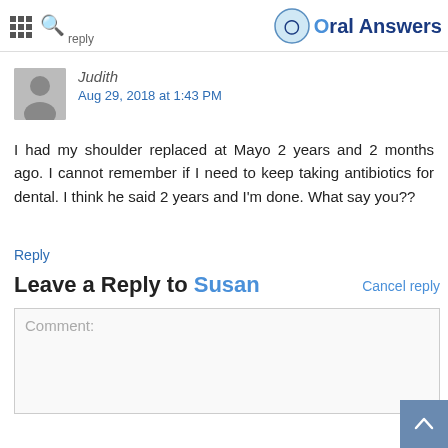Oral Answers
Judith
Aug 29, 2018 at 1:43 PM
I had my shoulder replaced at Mayo 2 years and 2 months ago. I cannot remember if I need to keep taking antibiotics for dental. I think he said 2 years and I'm done. What say you??
Reply
Leave a Reply to Susan
Cancel reply
Comment: